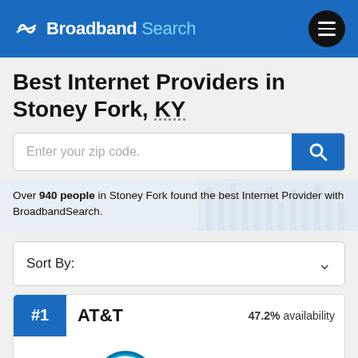Broadband Search
Best Internet Providers in Stoney Fork, KY
Enter your zip code.
Over 940 people in Stoney Fork found the best Internet Provider with BroadbandSearch.
Sort By:
#1  AT&T  47.2% availability
[Figure (logo): AT&T logo with globe icon and AT&T text]